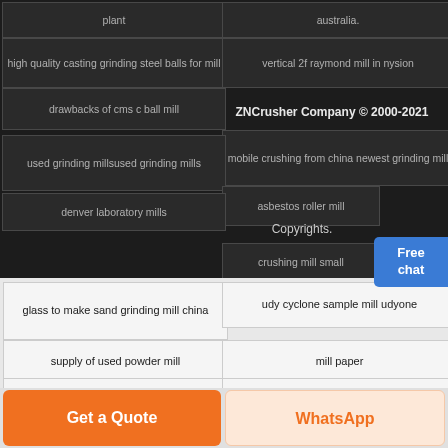plant
australia.
high quality casting grinding steel balls for mill
vertical 2f raymond mill in nysion
ZNCrusher Company © 2000-2021
drawbacks of cms c ball mill
mobile crushing from china newest grinding mill
used grinding millsused grinding mills
asbestos roller mill
Copyrights.
denver laboratory mills
crushing mill small
glass to make sand grinding mill china
udy cyclone sample mill udyone
supply of used powder mill
mill paper
performance of ehsan sttel re rolling mills ltd
best price raymond grinding mill
best price wet rod mill in togo
ball mill used mobile s for sale in dubai
Get a Quote
WhatsApp